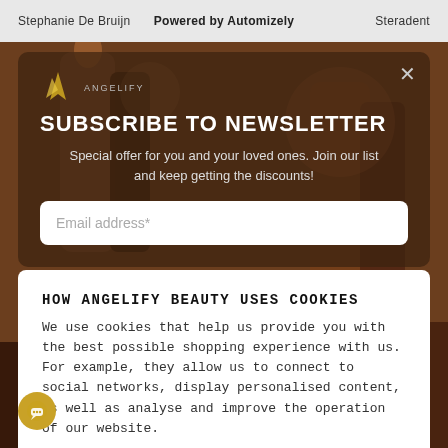Stephanie De Bruijn   Powered by Automizely   Steradent
[Figure (screenshot): Background photo of brown ceramic/beauty product bottles on dark background]
SUBSCRIBE TO NEWSLETTER
Special offer for you and your loved ones. Join our list and keep getting the discounts!
Email address*
HOW ANGELIFY BEAUTY USES COOKIES
We use cookies that help us provide you with the best possible shopping experience with us. For example, they allow us to connect to social networks, display personalised content, as well as analyse and improve the operation of our website.
ACCEPT ALL   COOKIE DETAILS